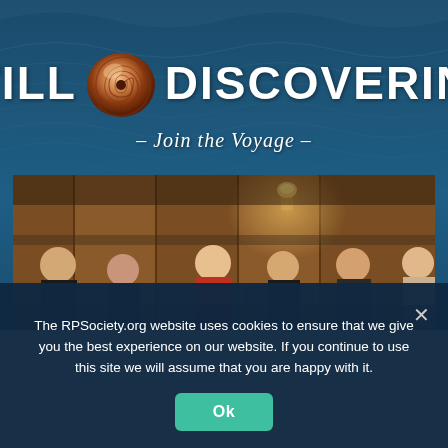STILL DISCOVERING - Join the Voyage -
[Figure (photo): Group of elderly people playing musical instruments (orchestra/band) in a wood-paneled hall with a wall sconce lamp]
The RPSociety.org website uses cookies to ensure that we give you the best experience on our website. If you continue to use this site we will assume that you are happy with it.